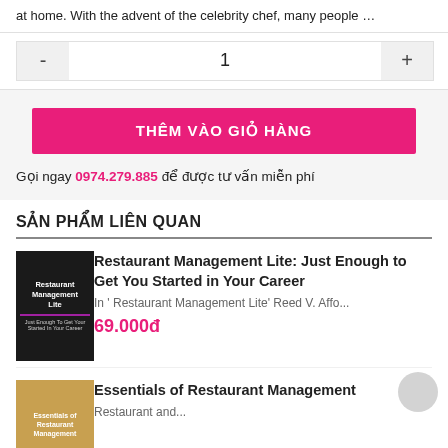at home. With the advent of the celebrity chef, many people …
- 1 +
THÊM VÀO GIỎ HÀNG
Gọi ngay 0974.279.885 để được tư vấn miễn phí
SẢN PHẨM LIÊN QUAN
Restaurant Management Lite: Just Enough to Get You Started in Your Career
In ' Restaurant Management Lite' Reed V. Affo...
69.000đ
Essentials of Restaurant Management
Restaurant and...